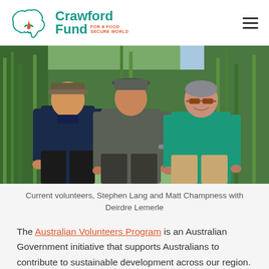Crawford Fund — For a Food Secure World
[Figure (photo): Three people standing outdoors in a lush green agricultural field. Left: young man in navy polo and cap, center: young man in grey shirt and bucket hat, right: older woman in teal/green shirt wearing sunglasses. Background shows tall green grass/crops and trees.]
Current volunteers, Stephen Lang and Matt Champness with Deirdre Lemerle
The Australian Volunteers Program is an Australian Government initiative that supports Australians to contribute to sustainable development across our region. Volunteers are supported with